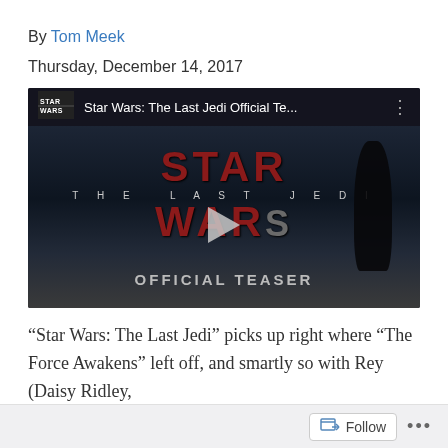By Tom Meek
Thursday, December 14, 2017
[Figure (screenshot): YouTube video thumbnail for 'Star Wars: The Last Jedi Official Te...' showing the Star Wars: The Last Jedi logo with red text and silhouettes, with a play button in the center and 'OFFICIAL TEASER' text at the bottom.]
“Star Wars: The Last Jedi” picks up right where “The Force Awakens” left off, and smartly so with Rey (Daisy Ridley,
Follow ...